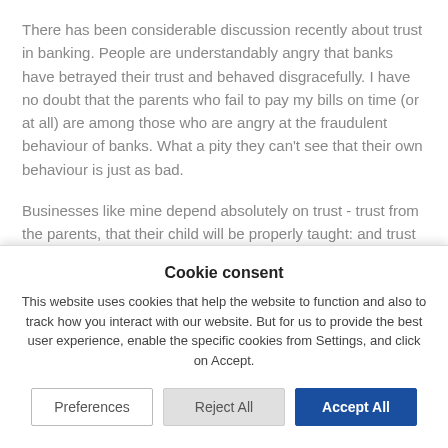There has been considerable discussion recently about trust in banking. People are understandably angry that banks have betrayed their trust and behaved disgracefully. I have no doubt that the parents who fail to pay my bills on time (or at all) are among those who are angry at the fraudulent behaviour of banks. What a pity they can't see that their own behaviour is just as bad.
Businesses like mine depend absolutely on trust - trust from the parents, that their child will be properly taught: and trust
Cookie consent
This website uses cookies that help the website to function and also to track how you interact with our website. But for us to provide the best user experience, enable the specific cookies from Settings, and click on Accept.